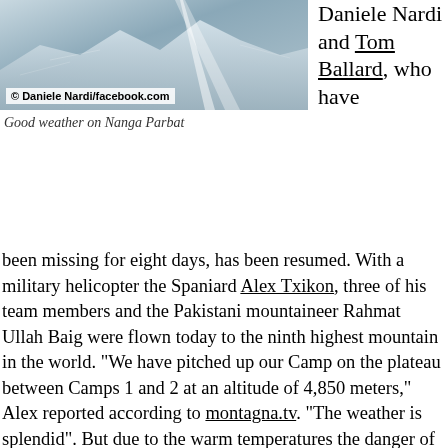[Figure (photo): Mountain photo of Nanga Parbat with snow and light beam, credited to Daniele Nardi/facebook.com]
Good weather on Nanga Parbat
Daniele Nardi and Tom Ballard, who have been missing for eight days, has been resumed. With a military helicopter the Spaniard Alex Txikon, three of his team members and the Pakistani mountaineer Rahmat Ullah Baig were flown today to the ninth highest mountain in the world. “We have pitched up our Camp on the plateau between Camps 1 and 2 at an altitude of 4,850 meters,” Alex reported according to montagna.tv. “The weather is splendid”. But due to the warm temperatures the danger of avalanches is increasing, says the 37-year-old, adding that they reconnoitered the mountain by helicoptery very accurately – the Kinshofer route, then the Mummery Rib and finally the glacier area between Camp 3 and the spot where the helicopter landed. “We reached an altitude of about 7,100 meters